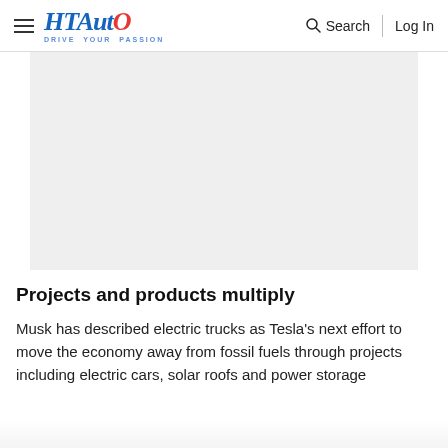HT Auto — Drive Your Passion | Search | Log In
[Figure (photo): Large image placeholder with light gray background]
Projects and products multiply
Musk has described electric trucks as Tesla's next effort to move the economy away from fossil fuels through projects including electric cars, solar roofs and power storage